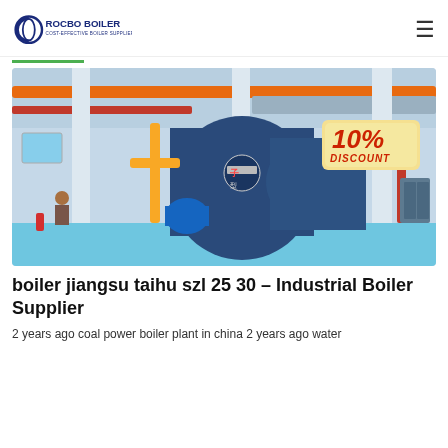ROCBO BOILER – COST-EFFECTIVE BOILER SUPPLIER
[Figure (photo): Industrial boiler room interior with large blue cylindrical boilers, orange and red pipes on ceiling, yellow gas pipes, and a 10% DISCOUNT badge in the top-right corner.]
boiler jiangsu taihu szl 25 30 – Industrial Boiler Supplier
2 years ago coal power boiler plant in china 2 years ago water